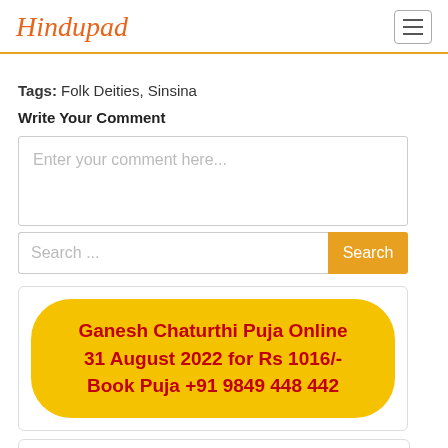Hindupad
Tags: Folk Deities, Sinsina
Write Your Comment
Enter your comment here...
Search ...
[Figure (infographic): Yellow pill-shaped banner with red bold text: Ganesh Chaturthi Puja Online 31 August 2022 for Rs 1016/- Book Puja +91 9849 448 442]